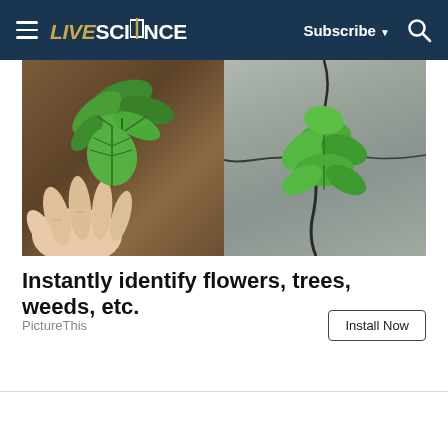LIVESCIENCE  Subscribe  🔍
[Figure (photo): Two-panel composite photo: left panel shows a hand holding green plant leaves with brown mulch background; right panel shows a green leafy plant growing from a crack in concrete pavement.]
Instantly identify flowers, trees, weeds, etc.
PictureThis
Install Now